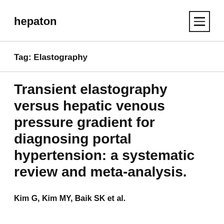hepaton
Tag: Elastography
Transient elastography versus hepatic venous pressure gradient for diagnosing portal hypertension: a systematic review and meta-analysis.
Kim G, Kim MY, Baik SK et al.